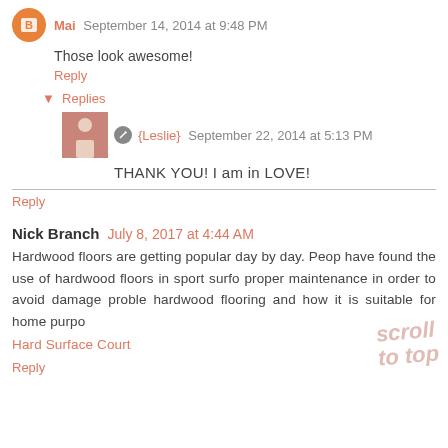Mai September 14, 2014 at 9:48 PM
Those look awesome!
Reply
Replies
{Leslie} September 22, 2014 at 5:13 PM
THANK YOU! I am in LOVE!
Reply
Nick Branch July 8, 2017 at 4:44 AM
Hardwood floors are getting popular day by day. People have found the use of hardwood floors in sport surfaces proper maintenance in order to avoid damage problems hardwood flooring and how it is suitable for home purposes Hard Surface Court
Reply